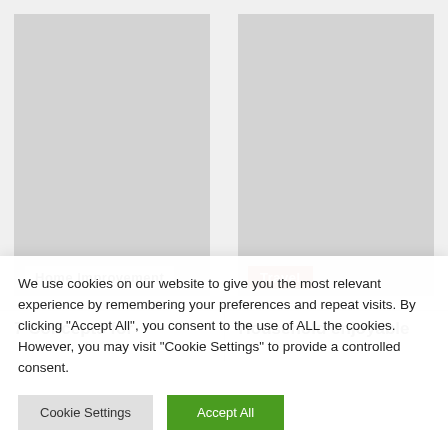[Figure (photo): Gray placeholder image card with 'Home Improvement' label at bottom left]
[Figure (photo): Gray placeholder image card with 'Travel' label (orange/red background) at bottom left]
7 Concepts for
Household enjoyable
We use cookies on our website to give you the most relevant experience by remembering your preferences and repeat visits. By clicking "Accept All", you consent to the use of ALL the cookies. However, you may visit "Cookie Settings" to provide a controlled consent.
Cookie Settings
Accept All